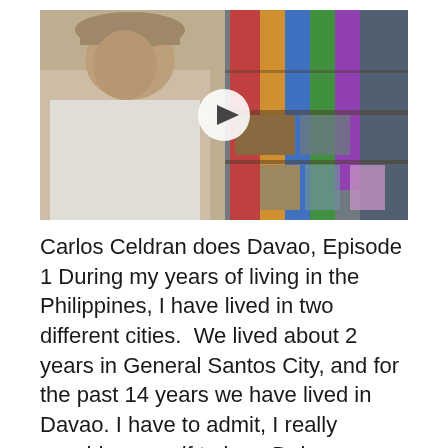[Figure (screenshot): Video thumbnail screenshot showing a man in a white shirt and hat in what appears to be a market or souvenir shop, with colorful items on shelves in the background. A white play button circle is visible in the center of the image.]
Carlos Celdran does Davao, Episode 1 During my years of living in the Philippines, I have lived in two different cities.  We lived about 2 years in General Santos City, and for the past 14 years we have lived in Davao. I have to admit, I really consider myself to be a Dabawenyo now after…